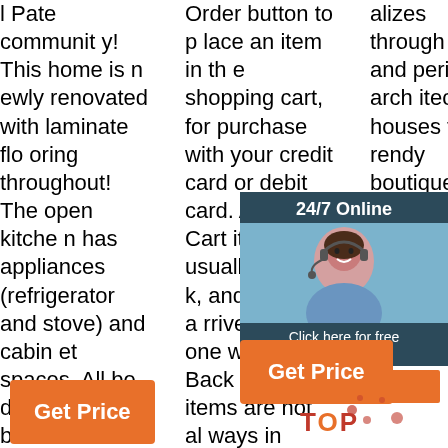l Pate community! This home is newly renovated with laminate flooring throughout! The open kitchen has appliances (refrigerator and stove) and cabinet spaces. All bedrooms and bathroom are spacious, along with the closet.
Order button to place an item in the shopping cart, for purchase with your credit card or debit card. Add To Cart items are usually in stock, and typically arrive within one week. Back Order items are not always in stock, but typically arrive within 2 to 3 weeks. Click a View Cart button to re
alizes through art and period architecture houses trendy boutiques where es a vet most located es s he d
[Figure (infographic): Customer service chat widget with woman wearing headset. Shows '24/7 Online' header, photo of woman with headset, 'Click here for free chat!' text, and orange QUOTATION button.]
[Figure (infographic): Orange 'Get Price' button on the right side of the page]
[Figure (infographic): Orange 'TOP' text with decorative splatter/paint marks]
[Figure (infographic): Orange 'Get Price' button at bottom left of the page]